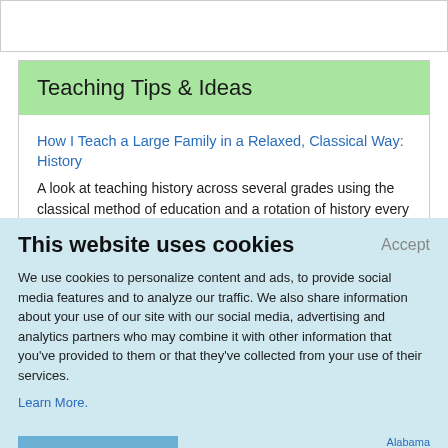Teaching Tips & Ideas
How I Teach a Large Family in a Relaxed, Classical Way: History
A look at teaching history across several grades using the classical method of education and a rotation of history every four years.
This website uses cookies
We use cookies to personalize content and ads, to provide social media features and to analyze our traffic. We also share information about your use of our site with our social media, advertising and analytics partners who may combine it with other information that you've provided to them or that they've collected from your use of their services.
Learn More.
Alabama